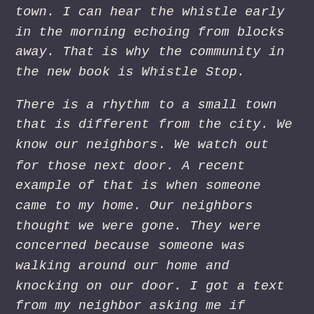town. I can hear the whistle early in the morning echoing from blocks away. That is why the community in the new book is Whistle Stop.
There is a rhythm to a small town that is different from the city. We know our neighbors. We watch out for those next door. A recent example of that is when someone came to my home. Our neighbors thought we were gone. They were concerned because someone was walking around our home and knocking on our door. I got a text from my neighbor asking me if someone was supposed to be there.
Though we do have our spats from time to time when someone is in trouble the community rallies behind them and supports them. This is small town life.